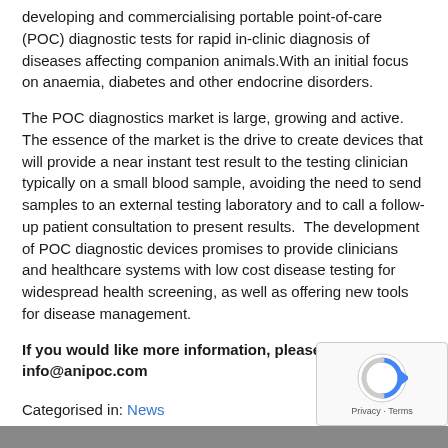developing and commercialising portable point-of-care (POC) diagnostic tests for rapid in-clinic diagnosis of diseases affecting companion animals.With an initial focus on anaemia, diabetes and other endocrine disorders.
The POC diagnostics market is large, growing and active. The essence of the market is the drive to create devices that will provide a near instant test result to the testing clinician typically on a small blood sample, avoiding the need to send samples to an external testing laboratory and to call a follow-up patient consultation to present results.  The development of POC diagnostic devices promises to provide clinicians and healthcare systems with low cost disease testing for widespread health screening, as well as offering new tools for disease management.
If you would like more information, please contact info@anipoc.com
Categorised in: News